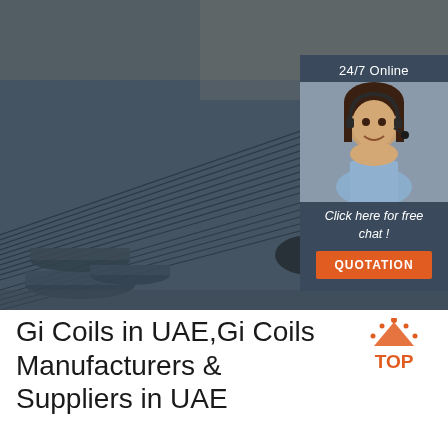[Figure (photo): Large photo of bundled steel rebar/rods stacked in a warehouse yard, with a 24/7 online chat widget overlay in the top-right corner showing a customer service agent, 'Click here for free chat!' text, and an orange 'QUOTATION' button]
Gi Coils in UAE,Gi Coils Manufacturers & Suppliers in UAE